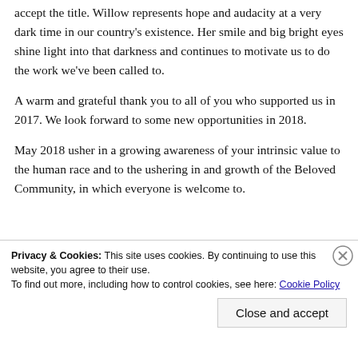accept the title. Willow represents hope and audacity at a very dark time in our country's existence. Her smile and big bright eyes shine light into that darkness and continues to motivate us to do the work we've been called to.
A warm and grateful thank you to all of you who supported us in 2017. We look forward to some new opportunities in 2018.
May 2018 usher in a growing awareness of your intrinsic value to the human race and to the ushering in and growth of the Beloved Community, in which everyone is welcome to.
Privacy & Cookies: This site uses cookies. By continuing to use this website, you agree to their use.
To find out more, including how to control cookies, see here: Cookie Policy